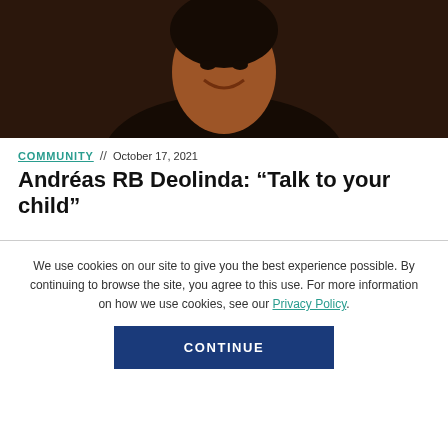[Figure (photo): Close-up photo of a smiling person, dark background]
COMMUNITY // October 17, 2021
Andréas RB Deolinda: “Talk to your child”
We use cookies on our site to give you the best experience possible. By continuing to browse the site, you agree to this use. For more information on how we use cookies, see our Privacy Policy.
CONTINUE